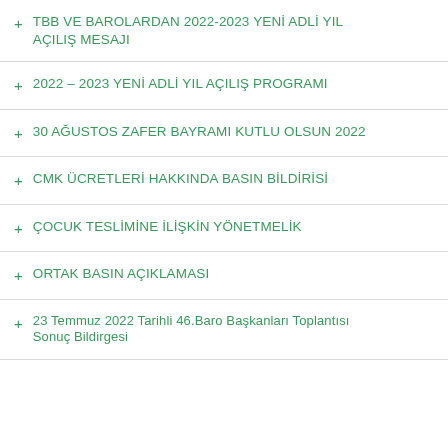+ TBB VE BAROLARDAN 2022-2023 YENİ ADLİ YIL AÇILIŞ MESAJI
+ 2022 – 2023 YENİ ADLİ YIL AÇILIŞ PROGRAMI
+ 30 AĞUSTOS ZAFER BAYRAMI KUTLU OLSUN 2022
+ CMK ÜCRETLERİ HAKKINDA BASIN BİLDİRİSİ
+ ÇOCUK TESLİMİNE İLİŞKİN YÖNETMELİK
+ ORTAK BASIN AÇIKLAMASI
+ 23 Temmuz 2022 Tarihli 46.Baro Başkanları Toplantısı Sonuç Bildirgesi